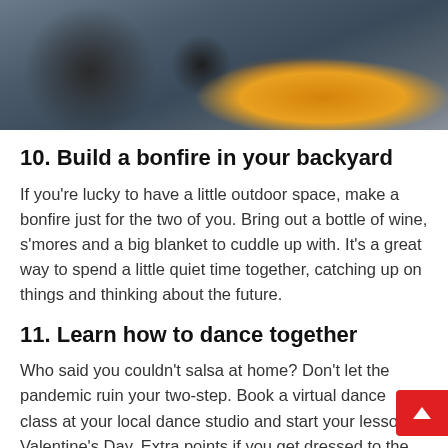[Figure (photo): Outdoor rocky ground with a small orange candle in a clay holder, dark rocky background with crevices]
10. Build a bonfire in your backyard
If you're lucky to have a little outdoor space, make a bonfire just for the two of you. Bring out a bottle of wine, s'mores and a big blanket to cuddle up with. It's a great way to spend a little quiet time together, catching up on things and thinking about the future.
11. Learn how to dance together
Who said you couldn't salsa at home? Don't let the pandemic ruin your two-step. Book a virtual dance class at your local dance studio and start your lesso on Valentine's Day. Extra points if you get dressed to the nines for the class.